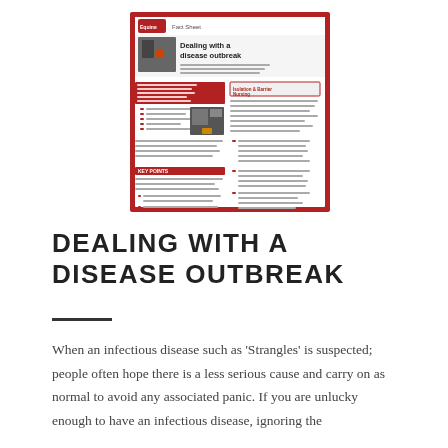[Figure (screenshot): Thumbnail image of an Equine 'Fact Sheet' document titled 'Dealing with a disease outbreak', showing red and white layout with text columns, bullet points, photos of horses/stables, and sections on isolation and biosecurity.]
DEALING WITH A DISEASE OUTBREAK
When an infectious disease such as 'Strangles' is suspected; people often hope there is a less serious cause and carry on as normal to avoid any associated panic. If you are unlucky enough to have an infectious disease, ignoring the